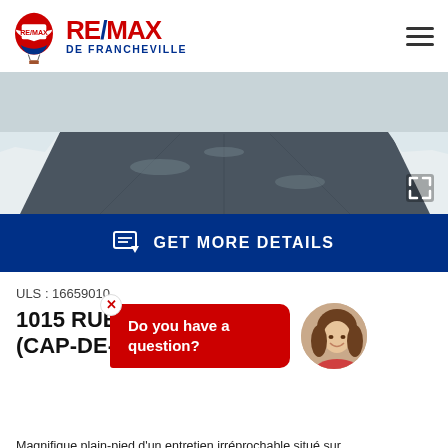[Figure (logo): RE/MAX De Francheville logo with hot air balloon icon]
[Figure (photo): Aerial/road-level winter photo of a paved driveway or road with snow on the sides]
GET MORE DETAILS
ULS : 16659010
1015 RUE DES H... (CAP-DE-LA-MA...
[Figure (other): Chat popup with agent photo and text 'Do you have a question?']
Magnifique plain-pied d'un entretien irréprochable situé sur